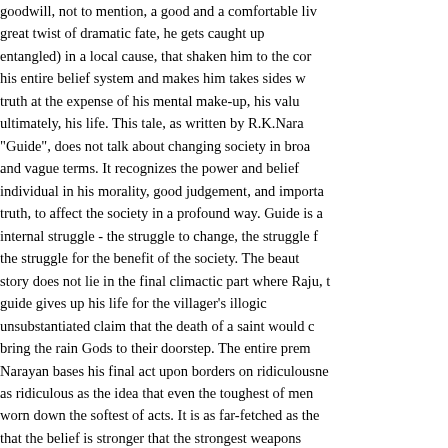goodwill, not to mention, a good and a comfortable living. By a great twist of dramatic fate, he gets caught up (and entangled) in a local cause, that shaken him to the core of his entire belief system and makes him takes sides with truth at the expense of his mental make-up, his values, ultimately, his life. This tale, as written by R.K.Narayan "Guide", does not talk about changing society in broad and vague terms. It recognizes the power and belief of individual in his morality, good judgement, and importance of truth, to affect the society in a profound way. Guide is about internal struggle - the struggle to change, the struggle for the struggle for the benefit of the society. The beauty of story does not lie in the final climactic part where Raju, the guide gives up his life for the villager's illogical, unsubstantiated claim that the death of a saint would cause bring the rain Gods to their doorstep. The entire premise Narayan bases his final act upon borders on ridiculousness, as ridiculous as the idea that even the toughest of men can be worn down the softest of acts. It is as far-fetched as the idea that the belief is stronger that the strongest weapons in the world. So when the story finally ends with torrential rain drenching the parched lands of the village, it is no longer suspension of disbelief to accept that the sacrifice of Raju and his will to fast himself unto death until the rain Gods beckon are just convenient plot devices to drive the story to its dramatic conclusion. The reader by then wholeheartedly trusts the power of his belief and the power of his faith.
Gandhiji's entire life is based on one such unbelievable premise. Why would the might Empire had to respond, when a frail man in a loin cloth calls for a fast unto death? There w...